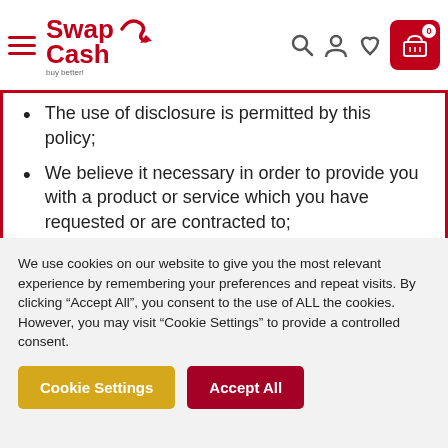[Figure (logo): SwapCash logo with red text and S-arrow graphic, hamburger menu icon on the left, search/user/heart/cart icons on the right in the header]
The use of disclosure is permitted by this policy;
We believe it necessary in order to provide you with a product or service which you have requested or are contracted to;
To protect the rights, property or personal safety of any member of the public or a
We use cookies on our website to give you the most relevant experience by remembering your preferences and repeat visits. By clicking “Accept All”, you consent to the use of ALL the cookies. However, you may visit “Cookie Settings” to provide a controlled consent.